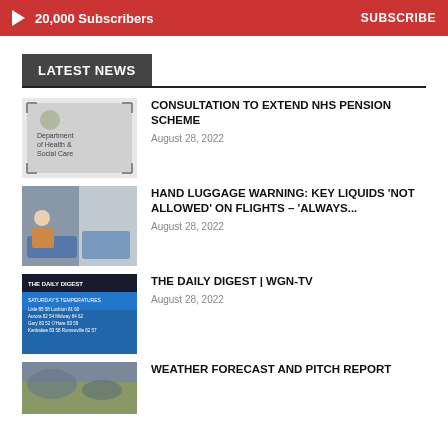20,000 Subscribers  SUBSCRIBE
LATEST NEWS
[Figure (photo): Department of Health & Social Care sign]
CONSULTATION TO EXTEND NHS PENSION SCHEME
August 28, 2022
[Figure (photo): Airport security scanner with liquids]
HAND LUGGAGE WARNING: KEY LIQUIDS 'NOT ALLOWED' ON FLIGHTS – 'ALWAYS...
August 28, 2022
[Figure (photo): The Daily Digest WGN-TV Saturday temperatures weather graphic]
THE DAILY DIGEST | WGN-TV
August 28, 2022
[Figure (photo): Weather forecast and pitch report scene]
WEATHER FORECAST AND PITCH REPORT